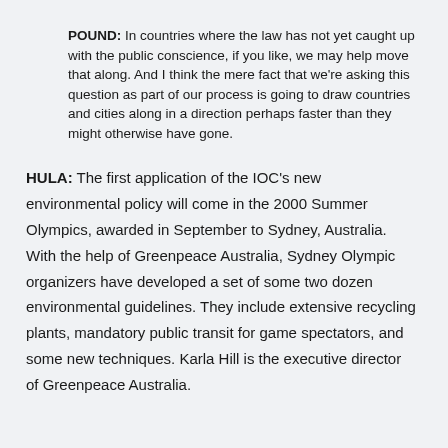POUND: In countries where the law has not yet caught up with the public conscience, if you like, we may help move that along. And I think the mere fact that we're asking this question as part of our process is going to draw countries and cities along in a direction perhaps faster than they might otherwise have gone.
HULA: The first application of the IOC's new environmental policy will come in the 2000 Summer Olympics, awarded in September to Sydney, Australia. With the help of Greenpeace Australia, Sydney Olympic organizers have developed a set of some two dozen environmental guidelines. They include extensive recycling plants, mandatory public transit for game spectators, and some new techniques. Karla Hill is the executive director of Greenpeace Australia.